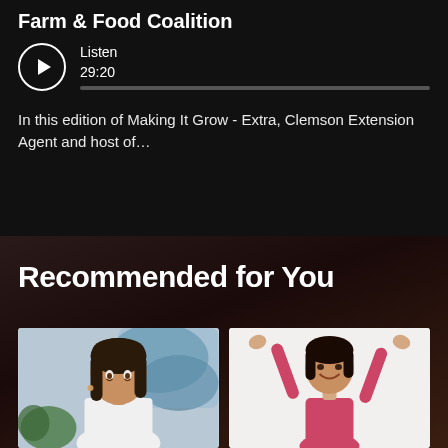Farm & Food Coalition
Listen 29:20
In this edition of Making It Grow - Extra, Clemson Extension Agent and host of...
Recommended for You
[Figure (photo): Woman with dark hair looking down, wearing white, blue abstract artwork in background]
[Figure (photo): Woman in pink top with arms raised above head in celebratory pose, white background]